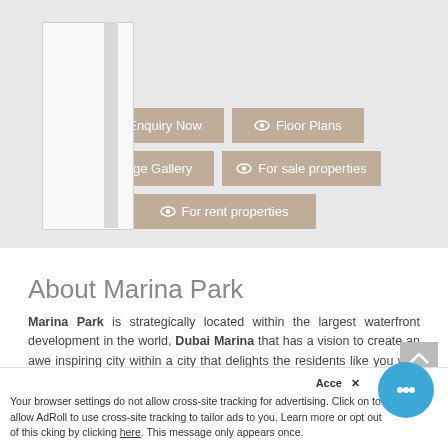[Figure (photo): Placeholder image area showing a partially visible building/property image with white card overlay]
👁 Enquiry Now
👁 Floor Plans
👁 Image Gallery
👁 For sale properties
👁 For rent properties
About Marina Park
Marina Park is strategically located within the largest waterfront development in the world, Dubai Marina that has a vision to create an awe inspiring city within a city that delights the residents like you with its cosmopolitan, free s...
Your browser settings do not allow cross-site tracking for advertising. Click on to allow AdRoll to use cross-site tracking to tailor ads to you. Learn more or opt out of this tracking by clicking here. This message only appears once.